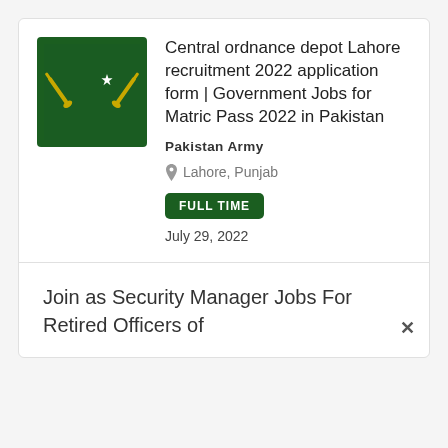[Figure (logo): Pakistan Army logo: dark green square with white crescent moon, star, and two crossed golden swords/pistols]
Central ordnance depot Lahore recruitment 2022 application form | Government Jobs for Matric Pass 2022 in Pakistan
Pakistan Army
Lahore, Punjab
FULL TIME
July 29, 2022
Join as Security Manager Jobs For Retired Officers of